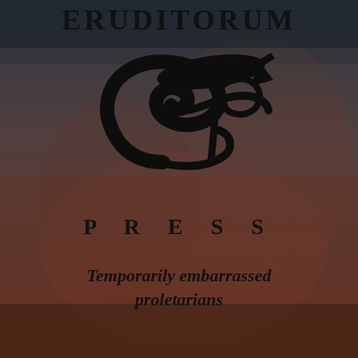ERUDITORUM
[Figure (logo): Eruditorum Press logo: a stylized cursive 'EP' monogram in black, resembling a quill or pen, above the word PRESS in spaced capital letters]
Temporarily embarrassed proletarians